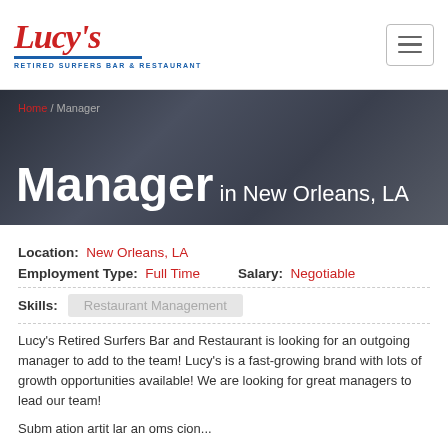[Figure (logo): Lucy's Retired Surfers Bar & Restaurant logo in red cursive with blue underline and subtitle]
Lucy's Retired Surfers Bar & Restaurant — navigation bar with hamburger menu
Manager in New Orleans, LA
Home / Manager
Location: New Orleans, LA
Employment Type: Full Time    Salary: Negotiable
Skills: Restaurant Management
Lucy's Retired Surfers Bar and Restaurant is looking for an outgoing manager to add to the team! Lucy's is a fast-growing brand with lots of growth opportunities available! We are looking for great managers to lead our team!
Subm ation artit lar an oms cion...